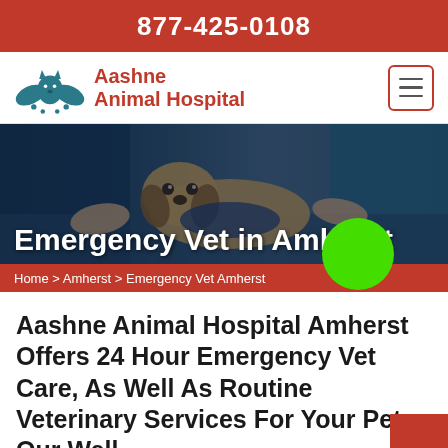877-425-0108
[Figure (logo): Aashne Animal Hospital logo with teal paws/cat/dog icon and red text]
Emergency Vet in Amherst
[Figure (photo): Veterinarians examining a beagle dog on a table, overlaid with hero title text and green circle indicator]
Home > Amherst > Emergency Vet Amherst
Aashne Animal Hospital Amherst Offers 24 Hour Emergency Vet Care, As Well As Routine Veterinary Services For Your Pets. Our Well-